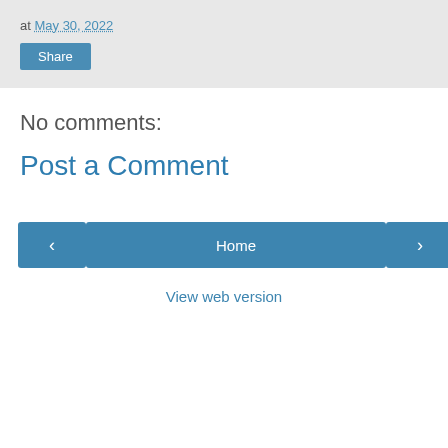at May 30, 2022
Share
No comments:
Post a Comment
‹
Home
›
View web version